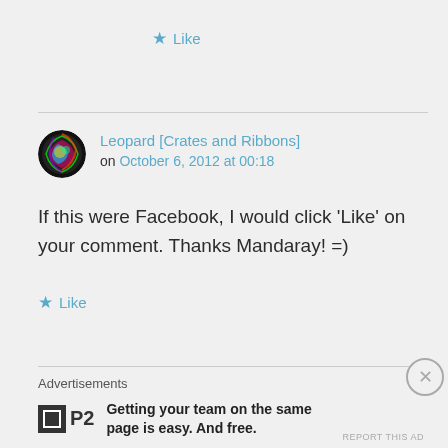★ Like
Leopard [Crates and Ribbons] on October 6, 2012 at 00:18
If this were Facebook, I would click 'Like' on your comment. Thanks Mandaray! =)
★ Like
Advertisements
Getting your team on the same page is easy. And free.